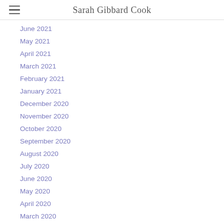Sarah Gibbard Cook
June 2021
May 2021
April 2021
March 2021
February 2021
January 2021
December 2020
November 2020
October 2020
September 2020
August 2020
July 2020
June 2020
May 2020
April 2020
March 2020
February 2020
January 2020
December 2019
November 2019